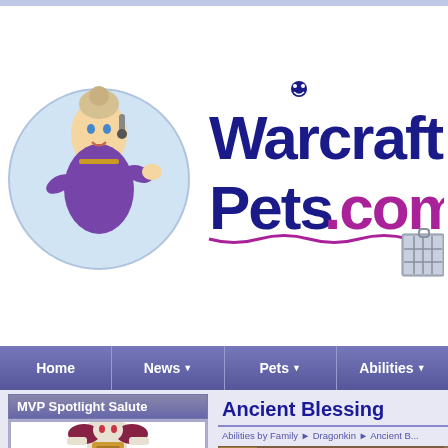[Figure (logo): WarcraftPets.com website logo with game character and pet cage icons]
Home | News | Pets | Abilities
MVP Spotlight Salute
[Figure (illustration): World of Warcraft character illustration in purple armor]
Ancient Blessing
Abilities by Family ► Dragonkin ► Ancient B...
[Figure (screenshot): Ancient Blessing ability image with Proud owner text overlay]